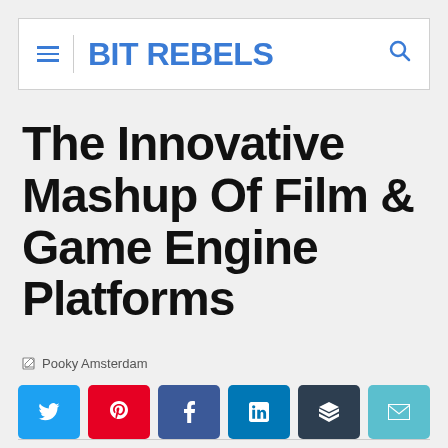BIT REBELS
The Innovative Mashup Of Film & Game Engine Platforms
Pooky Amsterdam
[Figure (other): Social share buttons row: Twitter (blue), Pinterest (red), Facebook (blue), LinkedIn (dark blue), Buffer (dark), Email (teal)]